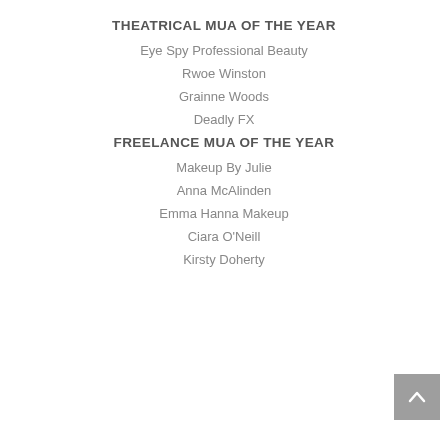THEATRICAL MUA OF THE YEAR
Eye Spy Professional Beauty
Rwoe Winston
Grainne Woods
Deadly FX
FREELANCE MUA OF THE YEAR
Makeup By Julie
Anna McAlinden
Emma Hanna Makeup
Ciara O'Neill
Kirsty Doherty